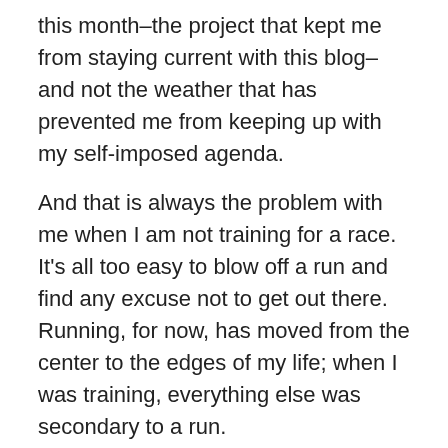this month–the project that kept me from staying current with this blog–and not the weather that has prevented me from keeping up with my self-imposed agenda.
And that is always the problem with me when I am not training for a race. It's all too easy to blow off a run and find any excuse not to get out there. Running, for now, has moved from the center to the edges of my life; when I was training, everything else was secondary to a run.
At the moment, I feel heavy and sluggish. While I didn't overdo my Thanksgiving feast, there has been no running to counteract the calories. So I am starting this blog back up to find some motivation to get back out there and finish the year with a flourish. By revisiting the successes of the second half of this year, I am hoping I will regain enough momentum to propel myself into next year, which